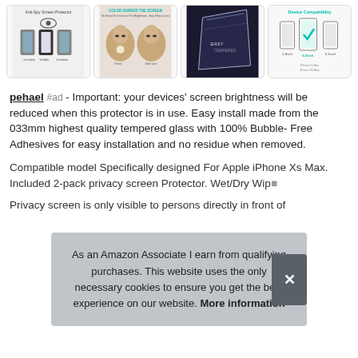[Figure (photo): Row of four product thumbnail images showing anti-spy screen protectors for iPhone, including privacy comparison, model wearing, glass clarity, and device compatibility images.]
pehael #ad - Important: your devices' screen brightness will be reduced when this protector is in use. Easy install made from the 033mm highest quality tempered glass with 100% Bubble-Free Adhesives for easy installation and no residue when removed.
Compatible model Specifically designed For Apple iPhone Xs Max. Included 2-pack privacy screen Protector. Wet/Dry Wip...
As an Amazon Associate I earn from qualifying purchases. This website uses the only necessary cookies to ensure you get the best experience on our website. More information
Privacy screen is only visible to persons directly in front of